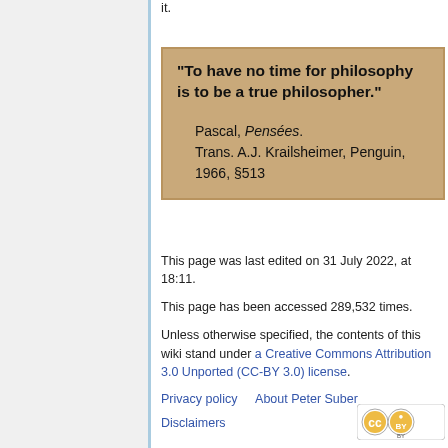it.
"To have no time for philosophy is to be a true philosopher."

Pascal, Pensées. Trans. A.J. Krailsheimer, Penguin, 1966, §513
This page was last edited on 31 July 2022, at 18:11.
This page has been accessed 289,532 times.
Unless otherwise specified, the contents of this wiki stand under a Creative Commons Attribution 3.0 Unported (CC-BY 3.0) license.
Privacy policy   About Peter Suber
Disclaimers
[Figure (logo): Creative Commons BY license badge]